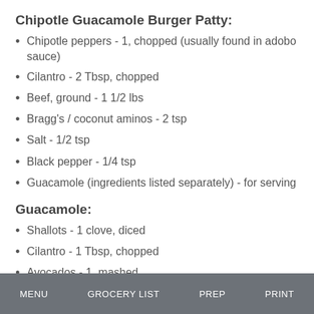Chipotle Guacamole Burger Patty:
Chipotle peppers - 1, chopped (usually found in adobo sauce)
Cilantro - 2 Tbsp, chopped
Beef, ground - 1 1/2 lbs
Bragg's / coconut aminos - 2 tsp
Salt - 1/2 tsp
Black pepper - 1/4 tsp
Guacamole (ingredients listed separately) - for serving
Guacamole:
Shallots - 1 clove, diced
Cilantro - 1 Tbsp, chopped
Avocados - 1, mashed
MENU   GROCERY LIST   PREP   PRINT